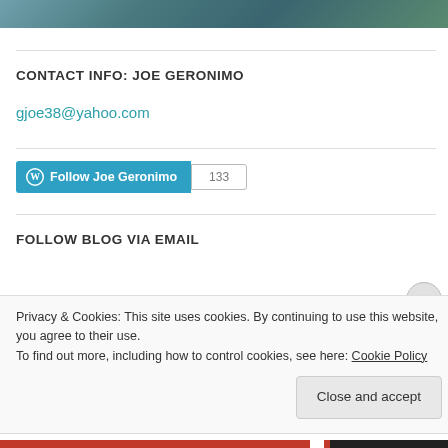[Figure (photo): Partial top photo strip showing water/nature scene]
CONTACT INFO: JOE GERONIMO
gjoe38@yahoo.com
Follow Joe Geronimo  133
FOLLOW BLOG VIA EMAIL
Privacy & Cookies: This site uses cookies. By continuing to use this website, you agree to their use.
To find out more, including how to control cookies, see here: Cookie Policy
Close and accept